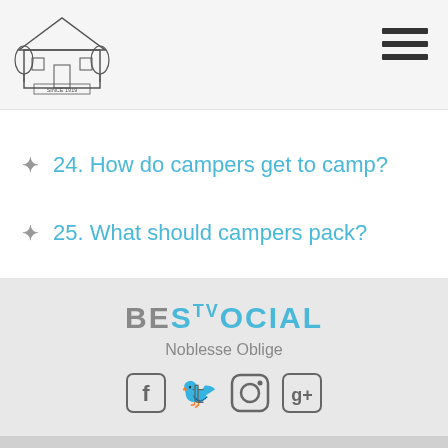Camp logo header with hamburger menu
24. How do campers get to camp?
25. What should campers pack?
[Figure (logo): BeSocial logo with social media icons (Facebook, Twitter, Instagram, Google+) and tagline Noblesse Oblige]
Proudly powered by Jared Fries Design. Home / About / Staff / Camp Life / Alumni / Blog / Contact Us